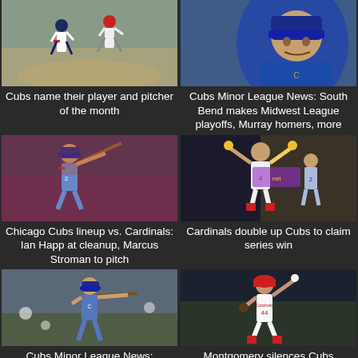[Figure (photo): Baseball players running on field, Cubs uniform]
Cubs name their player and pitcher of the month
[Figure (photo): Cubs player in blue helmet close-up]
Cubs Minor League News: South Bend makes Midwest League playoffs, Murray homers, more
[Figure (photo): Cubs batter swinging, Ian Happ]
Chicago Cubs lineup vs. Cardinals: Ian Happ at cleanup, Marcus Stroman to pitch
[Figure (photo): Cardinals player celebrating with arms raised, number 4]
Cardinals double up Cubs to claim series win
[Figure (photo): Cubs batter at plate with bat extended]
Cubs Minor League News:
[Figure (photo): Cardinals pitcher throwing, white uniform number 44]
Montgomery silences Cubs